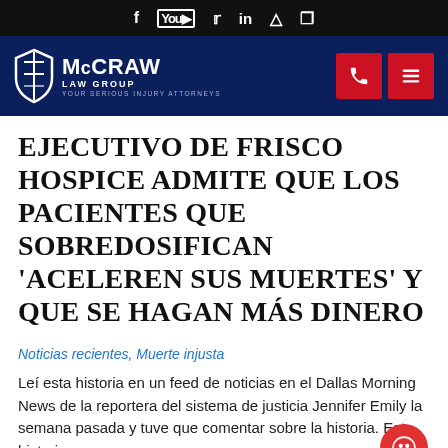Social media icons: f, YouTube, Twitter, LinkedIn, Instagram, Pinterest
[Figure (logo): McCraw Law Group logo with shield icon and tagline YOUR SERIOUS INJURY ATTORNEYS on dark navy background, with red phone and menu buttons]
EJECUTIVO DE FRISCO HOSPICE ADMITE QUE LOS PACIENTES QUE SOBREDOSIFICAN 'ACELEREN SUS MUERTES' Y QUE SE HAGAN MÁS DINERO
Noticias recientes, Muerte injusta
Leí esta historia en un feed de noticias en el Dallas Morning News de la reportera del sistema de justicia Jennifer Emily la semana pasada y tuve que comentar sobre la historia. Esta historia...